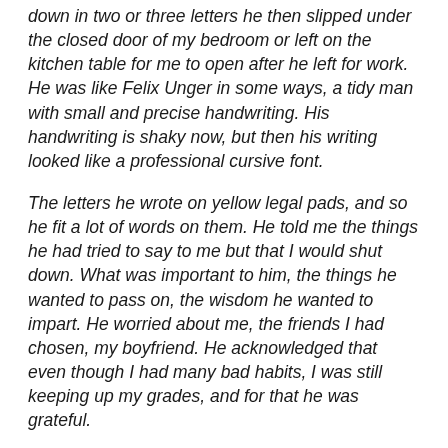down in two or three letters he then slipped under the closed door of my bedroom or left on the kitchen table for me to open after he left for work. He was like Felix Unger in some ways, a tidy man with small and precise handwriting. His handwriting is shaky now, but then his writing looked like a professional cursive font.
The letters he wrote on yellow legal pads, and so he fit a lot of words on them. He told me the things he had tried to say to me but that I would shut down. What was important to him, the things he wanted to pass on, the wisdom he wanted to impart. He worried about me, the friends I had chosen, my boyfriend. He acknowledged that even though I had many bad habits, I was still keeping up my grades, and for that he was grateful.
He did pass something on to me, didn't he? His honesty